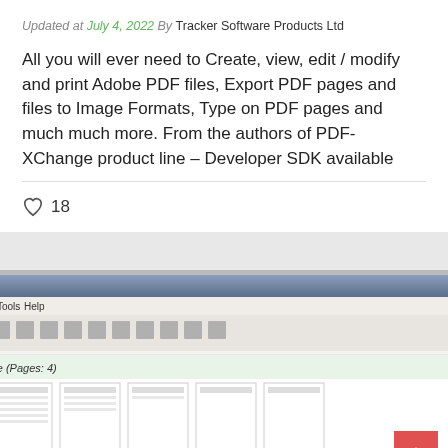Updated at July 4, 2022 By Tracker Software Products Ltd
All you will ever need to Create, view, edit / modify and print Adobe PDF files, Export PDF pages and files to Image Formats, Type on PDF pages and much much more. From the authors of PDF-XChange product line – Developer SDK available
♡ 18
[Figure (screenshot): Screenshot of PDF24 Creator application window showing document thumbnails and drag-and-drop interface]